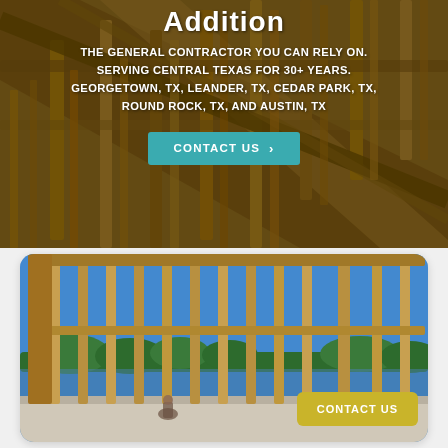[Figure (photo): Construction photo showing wooden roof framing and structural beams of a building under construction, viewed from below looking up, with warm wood tones.]
Addition
THE GENERAL CONTRACTOR YOU CAN RELY ON. SERVING CENTRAL TEXAS FOR 30+ YEARS. GEORGETOWN, TX, LEANDER, TX, CEDAR PARK, TX, ROUND ROCK, TX, AND AUSTIN, TX
[Figure (photo): Construction photo showing wooden wall framing of a building under construction with a clear blue sky background and a worker crouching on the floor in the middle distance, with a lake or water visible through the framing.]